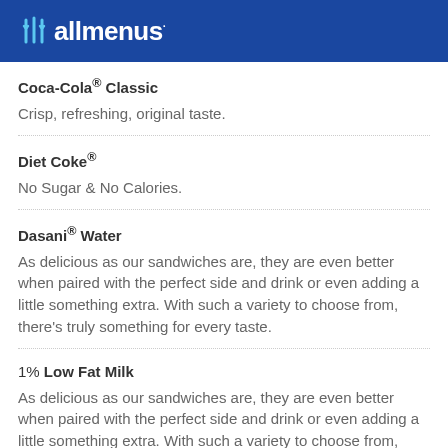allmenus
Coca-Cola® Classic
Crisp, refreshing, original taste.
Diet Coke®
No Sugar & No Calories.
Dasani® Water
As delicious as our sandwiches are, they are even better when paired with the perfect side and drink or even adding a little something extra. With such a variety to choose from, there's truly something for every taste.
1% Low Fat Milk
As delicious as our sandwiches are, they are even better when paired with the perfect side and drink or even adding a little something extra. With such a variety to choose from, there's truly something for every taste.